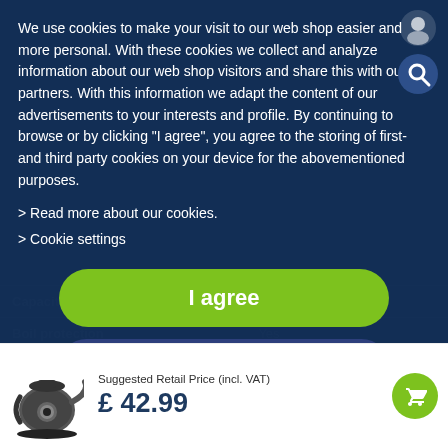We use cookies to make your visit to our web shop easier and more personal. With these cookies we collect and analyze information about our web shop visitors and share this with our partners. With this information we adapt the content of our advertisements to your interests and profile. By continuing to browse or by clicking "I agree", you agree to the storing of first- and third party cookies on your device for the abovementioned purposes.
> Read more about our cookies.
> Cookie settings
I agree
Disable Cookies
|  |  |
| --- | --- |
| Capacity |  |
| Boil protection | Yes |
| Concealed heating elem | Yes... |
| Limescale filter | Yes |
| --- | --- |
Suggested Retail Price (incl. VAT)
£ 42.99